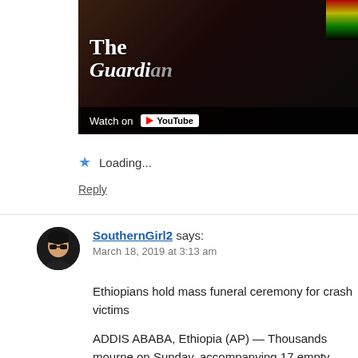[Figure (screenshot): YouTube video embed showing The Guardian video of Ethiopians holding a mass funeral ceremony. Dark overlay with white text showing 'The Guardian' and a 'Watch on YouTube' bar at the bottom.]
Loading...
Reply
SouthernGirl2 says: March 18, 2019 at 3:13 am
Ethiopians hold mass funeral ceremony for crash victims
ADDIS ABABA, Ethiopia (AP) — Thousands mourners on Sunday, accompanying 17 empty caskets draped in